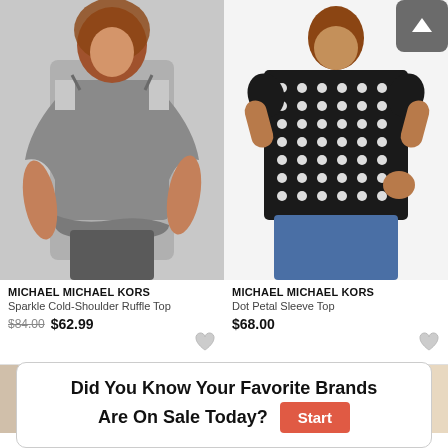[Figure (photo): Woman wearing a gray cold-shoulder ruffle top with bell sleeves]
[Figure (photo): Woman wearing a black and white checkered dot petal sleeve top with blue jeans, with scroll-up button overlay]
MICHAEL MICHAEL KORS
Sparkle Cold-Shoulder Ruffle Top
$84.00 $62.99
MICHAEL MICHAEL KORS
Dot Petal Sleeve Top
$68.00
[Figure (photo): Partial bottom-left product image of a woman]
[Figure (photo): Partial bottom-right product image of a woman]
Did You Know Your Favorite Brands Are On Sale Today? Start